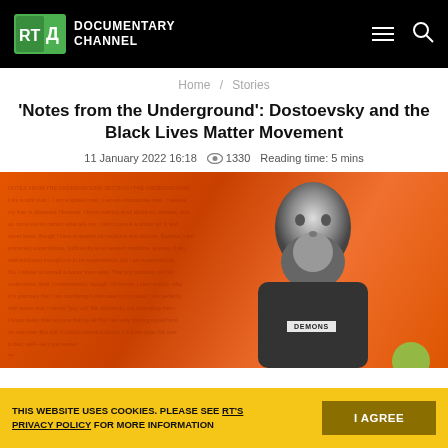RT Documentary Channel
Home / Stories
'Notes from the Underground': Dostoevsky and the Black Lives Matter Movement
11 January 2022 16:18  👁 1330  Reading time: 5 mins
[Figure (photo): Hero image showing orange manuscript pages in background with a black-and-white portrait of Dostoevsky overlaid, a 'DEMONS' book label, and a person in black in the background right]
THIS WEBSITE USES COOKIES. PLEASE SEE RT'S PRIVACY POLICY FOR MORE INFORMATION  [I AGREE button]